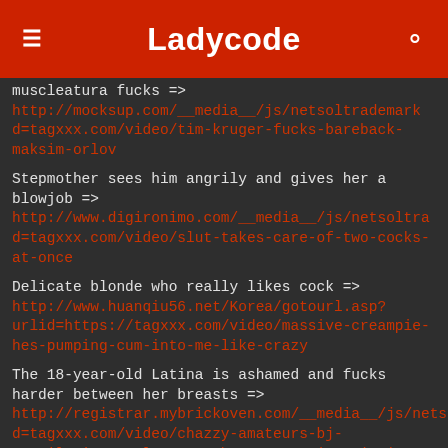Ladycode
muscleatura fucks => http://mocksup.com/__media__/js/netsoltrademark d=tagxxx.com/video/tim-kruger-fucks-bareback-maksim-orlov
Stepmother sees him angrily and gives her a blowjob => http://www.digironimo.com/__media__/js/netsoltra d=tagxxx.com/video/slut-takes-care-of-two-cocks-at-once
Delicate blonde who really likes cock => http://www.huanqiu56.net/Korea/gotourl.asp?urlid=https://tagxxx.com/video/massive-creampie-hes-pumping-cum-into-me-like-crazy
The 18-year-old Latina is ashamed and fucks harder between her breasts => http://registrar.mybrickoven.com/__media__/js/nets d=tagxxx.com/video/chazzy-amateurs-bj-compilation-early-2017-shoots-starring-nicci-